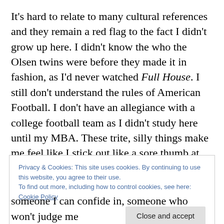It's hard to relate to many cultural references and they remain a red flag to the fact I didn't grow up here. I didn't know the who the Olsen twins were before they made it in fashion, as I'd never watched Full House. I still don't understand the rules of American Football. I don't have an allegiance with a college football team as I didn't study here until my MBA. These trite, silly things make me feel like I stick out like a sore thumb at times. At parties I've struggled with conversation (yes me!) when friends have been talking about football or sororities, while people glaze
Privacy & Cookies: This site uses cookies. By continuing to use this website, you agree to their use.
To find out more, including how to control cookies, see here: Cookie Policy
Close and accept
someone I can confide in, someone who won't judge me